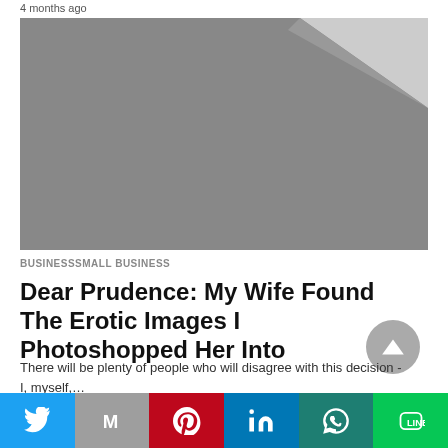4 months ago
[Figure (photo): Gray placeholder image with a white folded corner in the top right, resembling an unloaded or broken image thumbnail]
BUSINESSSMALL BUSINESS
Dear Prudence: My Wife Found The Erotic Images I Photoshopped Her Into
There will be plenty of people who will disagree with this decision - I, myself,...